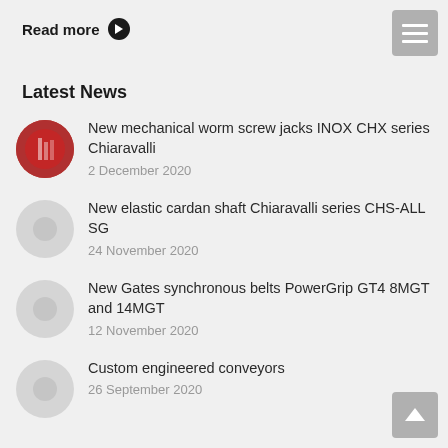Read more ❯
Latest News
New mechanical worm screw jacks INOX CHX series Chiaravalli
2 December 2020
New elastic cardan shaft Chiaravalli series CHS-ALL SG
24 November 2020
New Gates synchronous belts PowerGrip GT4 8MGT and 14MGT
12 November 2020
Custom engineered conveyors
26 September 2020